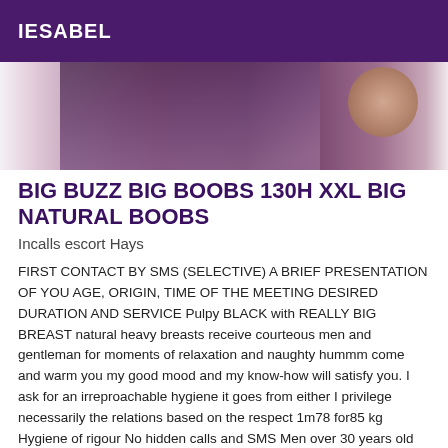IESABEL
[Figure (photo): Cropped photo of a dark-skinned person wearing a dark top, partial torso view with hand visible on the right side]
BIG BUZZ BIG BOOBS 130H XXL BIG NATURAL BOOBS
Incalls escort Hays
FIRST CONTACT BY SMS (SELECTIVE) A BRIEF PRESENTATION OF YOU AGE, ORIGIN, TIME OF THE MEETING DESIRED DURATION AND SERVICE Pulpy BLACK with REALLY BIG BREAST natural heavy breasts receive courteous men and gentleman for moments of relaxation and naughty hummm come and warm you my good mood and my know-how will satisfy you. I ask for an irreproachable hygiene it goes from either I privilege necessarily the relations based on the respect 1m78 for85 kg Hygiene of rigour No hidden calls and SMS Men over 30 years old dsl I do not receive